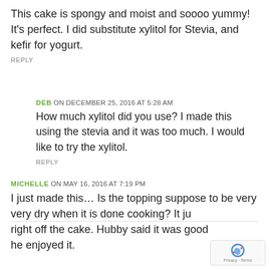This cake is spongy and moist and soooo yummy! It's perfect. I did substitute xylitol for Stevia, and kefir for yogurt.
REPLY
DEB ON DECEMBER 25, 2016 AT 5:28 AM
How much xylitol did you use? I made this using the stevia and it was too much. I would like to try the xylitol.
REPLY
MICHELLE ON MAY 16, 2016 AT 7:19 PM
I just made this… Is the topping suppose to be very very dry when it is done cooking? It ju right off the cake. Hubby said it was good he enjoyed it.